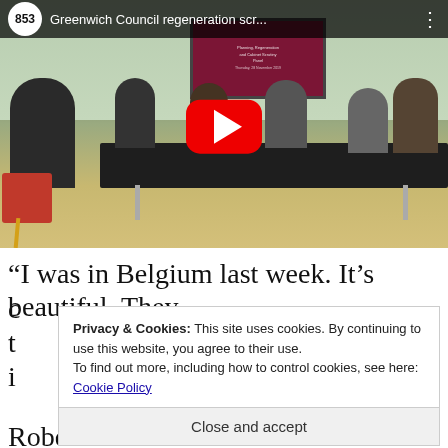[Figure (screenshot): YouTube video thumbnail showing Greenwich Council regeneration scrutiny meeting. People seated around a conference table in a wood-floored hall. A red YouTube play button overlay is visible in the center. A header bar shows the 853 channel logo and title 'Greenwich Council regeneration scr...']
“I was in Belgium last week. It’s beautiful. They
Privacy & Cookies: This site uses cookies. By continuing to use this website, you agree to their use.
To find out more, including how to control cookies, see here: Cookie Policy
Close and accept
Robertson said the council had made “good